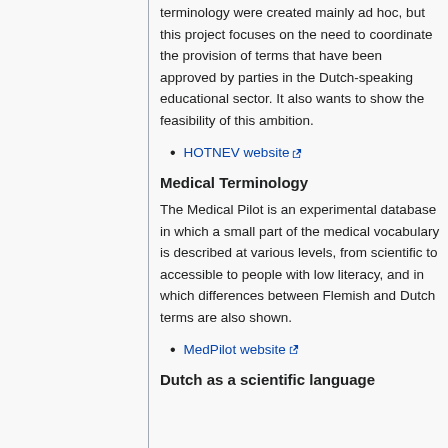terminology were created mainly ad hoc, but this project focuses on the need to coordinate the provision of terms that have been approved by parties in the Dutch-speaking educational sector. It also wants to show the feasibility of this ambition.
HOTNEV website
Medical Terminology
The Medical Pilot is an experimental database in which a small part of the medical vocabulary is described at various levels, from scientific to accessible to people with low literacy, and in which differences between Flemish and Dutch terms are also shown.
MedPilot website
Dutch as a scientific language